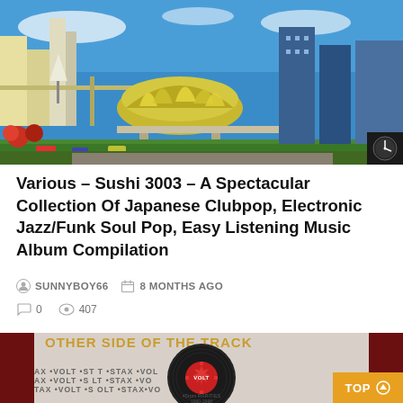[Figure (illustration): Retro-futuristic Japanese cityscape illustration with space-age architecture, monorails, domed structures, and futuristic buildings against a blue sky. A clock/timer icon appears in the bottom-right corner of the image.]
Various – Sushi 3003 – A Spectacular Collection Of Japanese Clubpop, Electronic Jazz/Funk Soul Pop, Easy Listening Music Album Compilation
SUNNYBOY66   8 MONTHS AGO
0   407
[Figure (photo): Album cover photo showing a vinyl record with 'VOLT' label (Stax/Volt records), with text repeating 'STAX • VOLT' in the background. Title reads 'Other Side of the Track' and '45rpm RARITIES 1960-1968'. An orange 'TOP' button with arrow is overlaid in the bottom-right corner.]